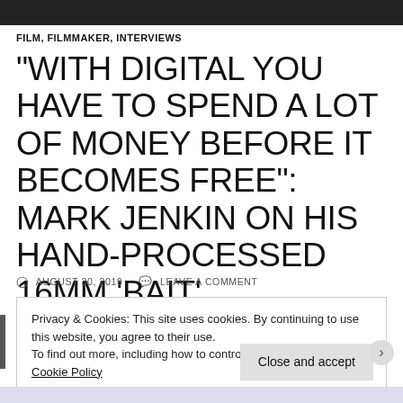[Figure (photo): Dark image at top of page, partial view of a person]
FILM, FILMMAKER, INTERVIEWS
“WITH DIGITAL YOU HAVE TO SPEND A LOT OF MONEY BEFORE IT BECOMES FREE”: MARK JENKIN ON HIS HAND-PROCESSED 16MM ‘BAIT’
AUGUST 30, 2019  LEAVE A COMMENT
Privacy & Cookies: This site uses cookies. By continuing to use this website, you agree to their use. To find out more, including how to control cookies, see here: Cookie Policy
Close and accept